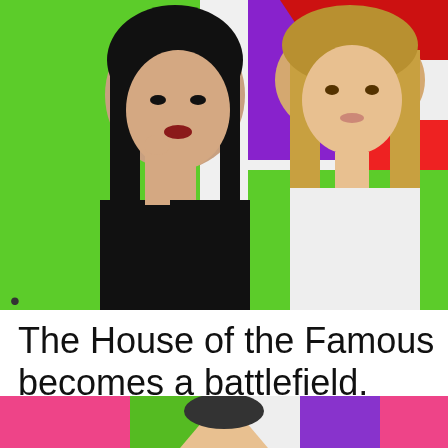[Figure (photo): Two celebrities side by side against a colorful background with green, purple, red, and white stripes. Left: a woman with long dark hair and dark makeup wearing black. Right: a person with long blonde hair wearing white.]
•
The House of the Famous becomes a battlefield. Here's a recount of the fights
01:47
[Figure (photo): Partial colorful image at the bottom with pink, green, and purple sections visible, showing the top of a person's head.]